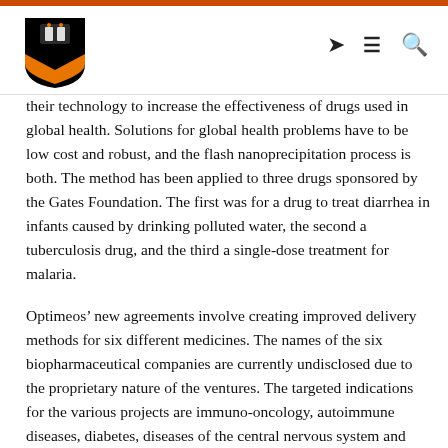[Figure (logo): Princeton University shield logo — black and orange crest with stylized book design]
their technology to increase the effectiveness of drugs used in global health. Solutions for global health problems have to be low cost and robust, and the flash nanoprecipitation process is both. The method has been applied to three drugs sponsored by the Gates Foundation. The first was for a drug to treat diarrhea in infants caused by drinking polluted water, the second a tuberculosis drug, and the third a single-dose treatment for malaria.
Optimeos' new agreements involve creating improved delivery methods for six different medicines. The names of the six biopharmaceutical companies are currently undisclosed due to the proprietary nature of the ventures. The targeted indications for the various projects are immuno-oncology, autoimmune diseases, diabetes, diseases of the central nervous system and ocular diseases.